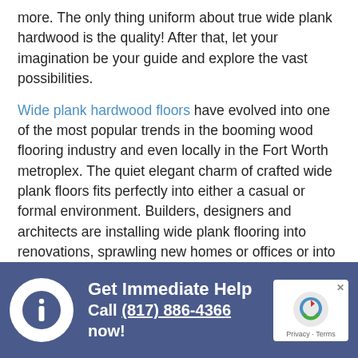more. The only thing uniform about true wide plank hardwood is the quality! After that, let your imagination be your guide and explore the vast possibilities.
Wide plank hardwood floors have evolved into one of the most popular trends in the booming wood flooring industry and even locally in the Fort Worth metroplex. The quiet elegant charm of crafted wide plank floors fits perfectly into either a casual or formal environment. Builders, designers and architects are installing wide plank flooring into renovations, sprawling new homes or offices or into single room additions where old flooring meets new 21st century efficiency.
Get Immediate Help Call (817) 886-4366 now!